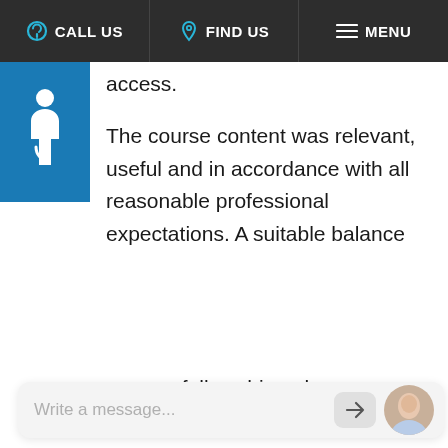CALL US | FIND US | MENU
[Figure (illustration): Blue accessibility wheelchair icon in a blue square panel on the left sidebar]
access.
The course content was relevant, useful and in accordance with all reasonable professional expectations. A suitable balance
[Figure (screenshot): Chat popup overlay with waving hand emoji, message 'Hi, let us know if you have any questions.' and buttons 'Chat now' and 'Just browsing', with a close X button. Below is a chat input bar with 'Write a message...' placeholder, a send button, and an avatar photo.]
successfully achieved industry
exceed expectations and stand out within the network.